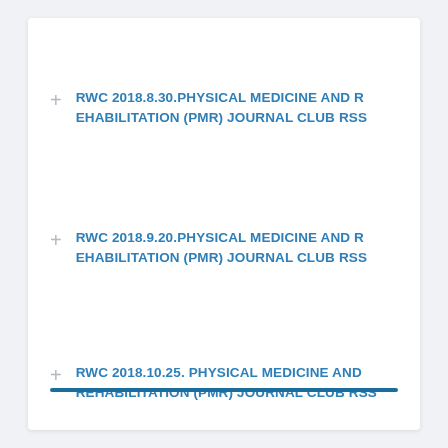RWC 2018.8.30.PHYSICAL MEDICINE AND REHABILITATION (PMR) JOURNAL CLUB RSS
RWC 2018.9.20.PHYSICAL MEDICINE AND REHABILITATION (PMR) JOURNAL CLUB RSS
RWC 2018.10.25. PHYSICAL MEDICINE AND REHABILITATION (PMR) JOURNAL CLUB RSS